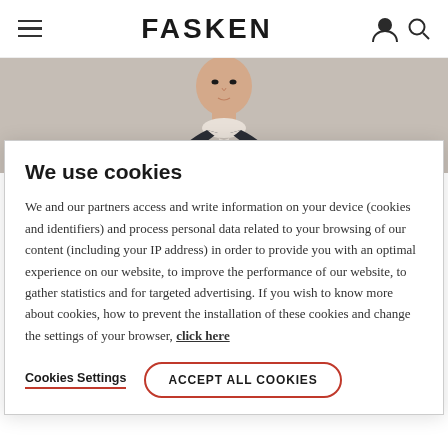FASKEN
[Figure (photo): Professional headshot of a man in a dark suit, partially visible, beige/grey background]
We use cookies
We and our partners access and write information on your device (cookies and identifiers) and process personal data related to your browsing of our content (including your IP address) in order to provide you with an optimal experience on our website, to improve the performance of our website, to gather statistics and for targeted advertising. If you wish to know more about cookies, how to prevent the installation of these cookies and change the settings of your browser, click here
Cookies Settings
ACCEPT ALL COOKIES